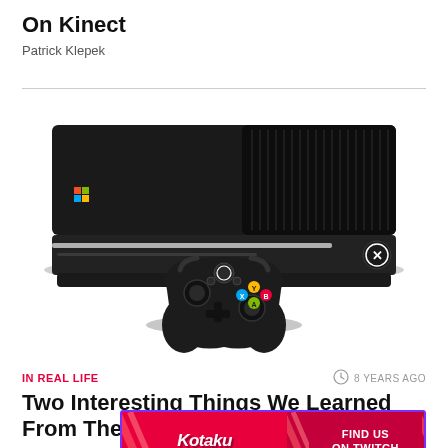On Kinect
Patrick Klepek
[Figure (photo): Xbox One gaming console (black rectangular box) with an Xbox One wireless controller in front of it, on a white background.]
IN REAL LIFE
8 YEARS AGO
Two Interesting Things We Learned From The Xbox
[Figure (other): Kotaku advertisement banner — red background with purple border, Kotaku logo on left, 'FIND US ON TWITCH' text on right with diagonal stripe decoration.]